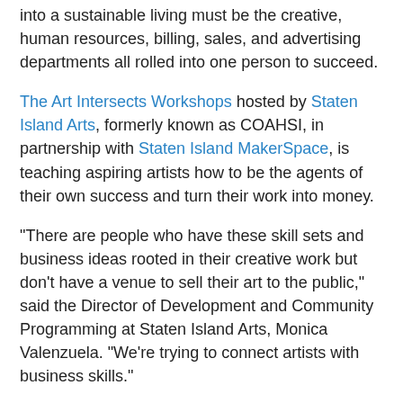into a sustainable living must be the creative, human resources, billing, sales, and advertising departments all rolled into one person to succeed.
The Art Intersects Workshops hosted by Staten Island Arts, formerly known as COAHSI, in partnership with Staten Island MakerSpace, is teaching aspiring artists how to be the agents of their own success and turn their work into money.
“There are people who have these skill sets and business ideas rooted in their creative work but don’t have a venue to sell their art to the public,” said the Director of Development and Community Programming at Staten Island Arts, Monica Valenzuela. “We’re trying to connect artists with business skills.”
Art Intersects is a four-part workshop aimed at providing constructive information on the organization, operation, creation of a business model, other related concerns that Staten Island artists...